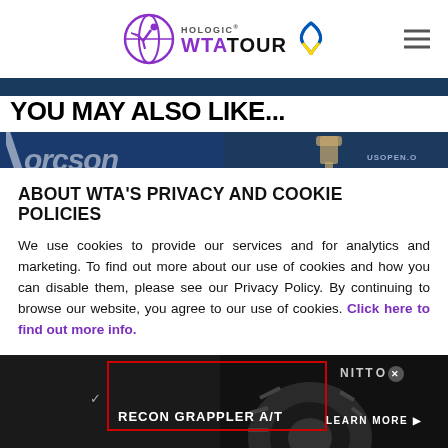Hologic WTA Tour
YOU MAY ALSO LIKE...
[Figure (photo): Two cropped sports/event images side by side — left shows partial text (dragon/oregon style text in dark blue), right shows trophy image with USOPEN text overlay]
ABOUT WTA'S PRIVACY AND COOKIE POLICIES
We use cookies to provide our services and for analytics and marketing. To find out more about our use of cookies and how you can disable them, please see our Privacy Policy. By continuing to browse our website, you agree to our use of cookies. Click here to find out more info.
[Figure (photo): Nitto advertisement banner — Recon Grappler A/T tire ad with tire image, red border box, Nitto logo, and Learn More button]